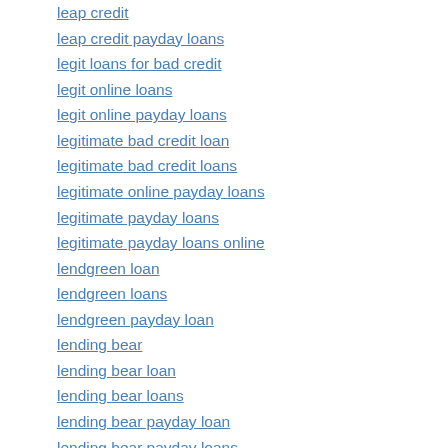leap credit
leap credit payday loans
legit loans for bad credit
legit online loans
legit online payday loans
legitimate bad credit loan
legitimate bad credit loans
legitimate online payday loans
legitimate payday loans
legitimate payday loans online
lendgreen loan
lendgreen loans
lendgreen payday loan
lending bear
lending bear loan
lending bear loans
lending bear payday loan
lending bear payday loans
leo vegas